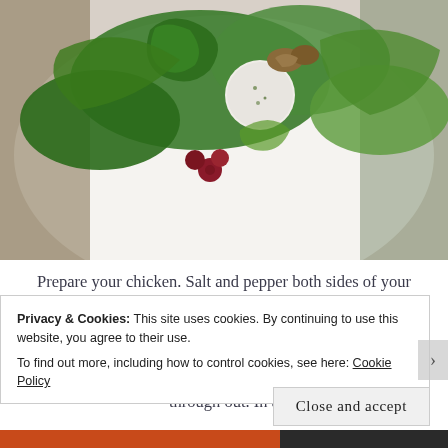[Figure (photo): Close-up photo of a plated salad dish with fresh green leaves, parsley, raspberries, cream cheese or mozzarella, and walnuts on a white plate.]
Prepare your chicken. Salt and pepper both sides of your chicken. I cooked my chicken in the oven because it was raining cats and dogs but I would usually grill my chicken. Preheat your oven to 350 degrees and on a baking sheet place chicken and bake for 15-20 minutes or until chicken is cooked through out. In a
Privacy & Cookies: This site uses cookies. By continuing to use this website, you agree to their use.
To find out more, including how to control cookies, see here: Cookie Policy
Close and accept